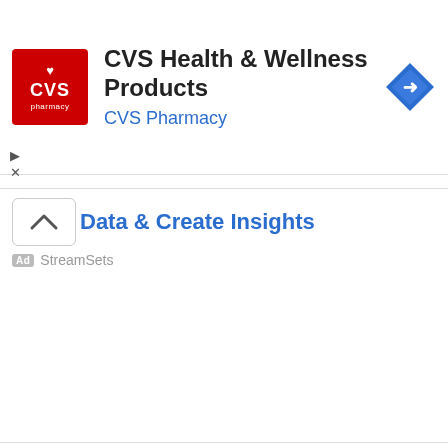[Figure (screenshot): CVS Health & Wellness Products advertisement banner with CVS Pharmacy logo (red square with heart and text), ad title 'CVS Health & Wellness Products', subtitle 'CVS Pharmacy', and a blue diamond navigation icon on the right. Small play and close (X) controls at the bottom left.]
[Figure (screenshot): Second advertisement banner showing a chevron-up icon in a rounded box, partially cut-off text '...mize Data & Create Insights' in blue, with an 'Ad' badge and 'StreamSets' label below.]